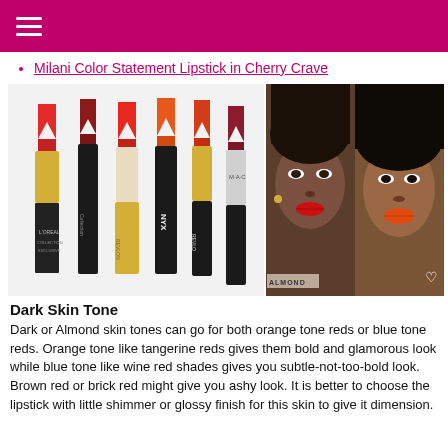Milani Color Statement Lipstick in Cherry Crave
[Figure (photo): Six red and orange-red lipsticks in various tubes (L'Oreal, NYX, Revlon, MAC, etc.) displayed side by side on the left; two portrait photos of dark-skinned women wearing red/orange-red lipstick on the right, with 'ALMOND' label overlay on the left portrait.]
Dark Skin Tone
Dark or Almond skin tones can go for both orange tone reds or blue tone reds. Orange tone like tangerine reds gives them bold and glamorous look while blue tone like wine red shades gives you subtle-not-too-bold look. Brown red or brick red might give you ashy look. It is better to choose the lipstick with little shimmer or glossy finish for this skin to give it dimension.